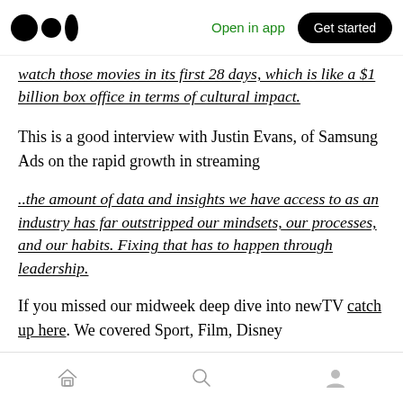Open in app | Get started
watch those movies in its first 28 days, which is like a $1 billion box office in terms of cultural impact.
This is a good interview with Justin Evans, of Samsung Ads on the rapid growth in streaming
..the amount of data and insights we have access to as an industry has far outstripped our mindsets, our processes, and our habits. Fixing that has to happen through leadership.
If you missed our midweek deep dive into newTV catch up here. We covered Sport, Film, Disney
Home | Search | Profile